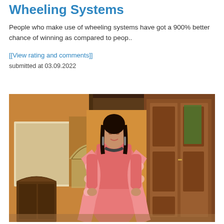Wheeling Systems
People who make use of wheeling systems have got a 900% better chance of winning as compared to peop..
[[View rating and comments]]
submitted at 03.09.2022
[Figure (photo): A woman wearing a pink traditional Indian outfit (salwar kameez) with floral print dupatta and jewelry, standing in an ornate room with arched windows and dark wooden furniture.]